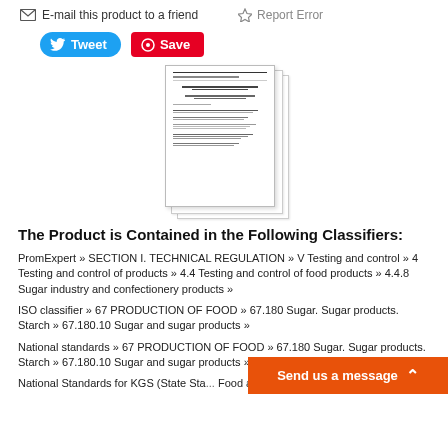E-mail this product to a friend   Report Error
[Figure (screenshot): Tweet and Save (Pinterest) social sharing buttons]
[Figure (photo): Preview of a stacked document / standard pages showing Cyrillic text content]
The Product is Contained in the Following Classifiers:
PromExpert » SECTION I. TECHNICAL REGULATION » V Testing and control » 4 Testing and control of products » 4.4 Testing and control of food products » 4.4.8 Sugar industry and confectionery products »
ISO classifier » 67 PRODUCTION OF FOOD » 67.180 Sugar. Sugar products. Starch » 67.180.10 Sugar and sugar products »
National standards » 67 PRODUCTION OF FOOD » 67.180 Sugar. Sugar products. Starch » 67.180.10 Sugar and sugar products »
National Standards for KGS (State Sta... Food and taste products » N4 Sugar, c...